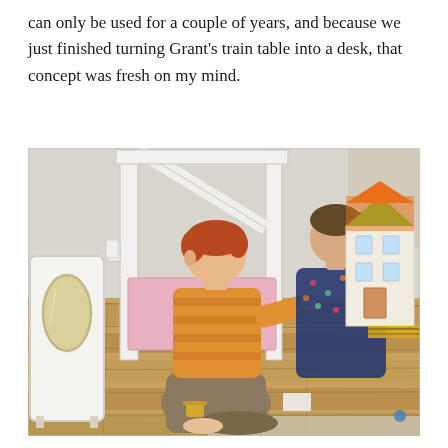can only be used for a couple of years, and because we just finished turning Grant's train table into a desk, that concept was fresh on my mind.
[Figure (photo): Two children sitting on a hardwood floor playing with a dollhouse and what appears to be furniture. A boy with red hair wearing a yellow/orange striped shirt and khaki pants sits in front, and a girl in a dark floral top sits behind him to the right. A white wardrobe with mirror is on the left. A colorful wooden dollhouse is on the right. White bunk bed frame is in the background. Pink storage box visible in center.]